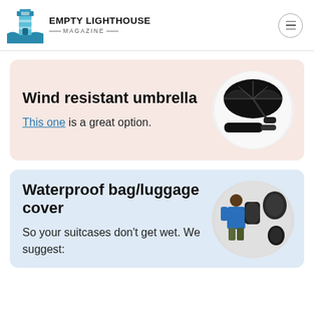EMPTY LIGHTHOUSE MAGAZINE
Wind resistant umbrella
This one is a great option.
[Figure (photo): Black wind-resistant umbrella shown open and collapsed]
Waterproof bag/luggage cover
So your suitcases don't get wet. We suggest:
[Figure (photo): Person wearing backpack with waterproof bag cover, and bag covers shown separately]